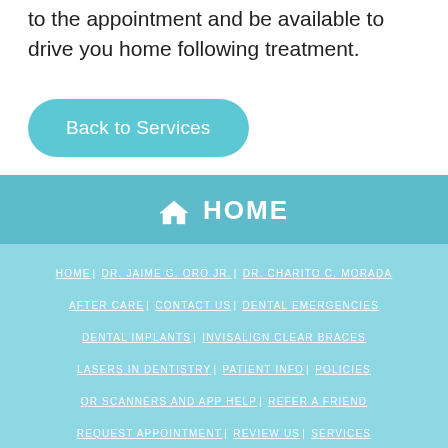to the appointment and be available to drive you home following treatment.
Back to Services
HOME
HOME | DR. JAIME G. ORO JR. | DR. CHARITO C. MORADA | AFTER CARE | CONTACT US | DENTAL EMERGENCIES | DENTAL IMPLANTS | INVISALIGN CLEAR BRACES | LASERS IN DENTISTRY | PATIENT INFO | POLICIES | QR SCANNERS AND APP HELP | REFER A FRIEND | REQUEST APPOINTMENT | REVIEW US | SERVICES | SOCIAL MEDIA/REVIEWS | TECHNOLOGY | WATER FILTER | WELCOME | WHAT TO EXPECT
ENGLISH